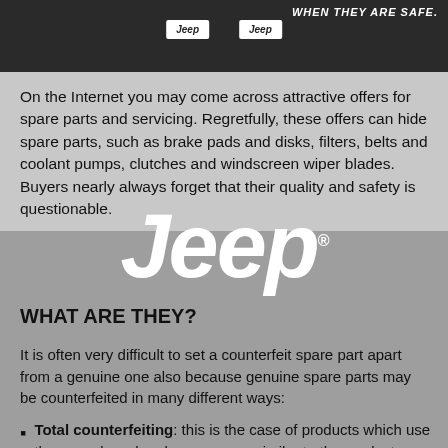[Figure (photo): Dark background image showing Jeep branded boxes/packages being held, with text 'WHEN THEY ARE SAFE.' visible in upper right corner]
On the Internet you may come across attractive offers for spare parts and servicing. Regretfully, these offers can hide spare parts, such as brake pads and disks, filters, belts and coolant pumps, clutches and windscreen wiper blades. Buyers nearly always forget that their quality and safety is questionable.
[Figure (logo): Jeep brand logo in large white italic font with registered trademark symbol]
WHAT ARE THEY?
It is often very difficult to set a counterfeit spare part apart from a genuine one also because genuine spare parts may be counterfeited in many different ways:
Total counterfeiting: this is the case of products which use the same brand and appear very similar to the products they imitate.